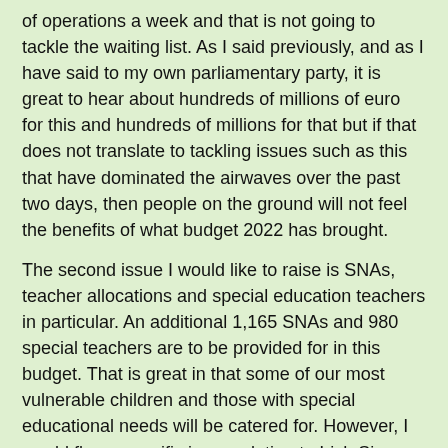of operations a week and that is not going to tackle the waiting list. As I said previously, and as I have said to my own parliamentary party, it is great to hear about hundreds of millions of euro for this and hundreds of millions for that but if that does not translate to tackling issues such as this that have dominated the airwaves over the past two days, then people on the ground will not feel the benefits of what budget 2022 has brought.
The second issue I would like to raise is SNAs, teacher allocations and special education teachers in particular. An additional 1,165 SNAs and 980 special teachers are to be provided for in this budget. That is great in that some of our most vulnerable children and those with special educational needs will be catered for. However, I would flag a specific issue relating to Irish Sign Language and deaf children or children suffering from profound hearing difficulties. Approximately 20 kids in mainstream schools are not currently being facilitated by the Department with an Irish Sign Language teacher, as is their constitutional right. There are a number of cases before the High Court on this issue but this allocation of 980 special teachers can provide for those 20 or so children nationally and deliver on that constitutional right.
I acknowledge again that there is a reduction in the pupil-teacher ratio from 25 to 24, following on from last year's reduction. This is a progressive measure that is going to be phased in over a number of budgets. That is very welcome in that we will get closer to our EU